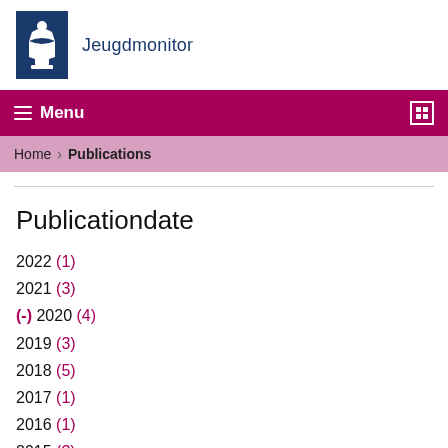Jeugdmonitor
☰ Menu
Home › Publications
Publicationdate
2022 (1)
2021 (3)
(-) 2020 (4)
2019 (3)
2018 (5)
2017 (1)
2016 (1)
2015 (3)
2014 (3)
2013 (1)